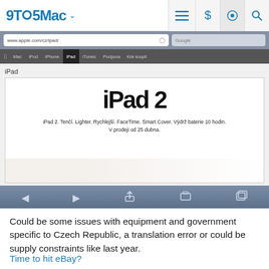9TO5Mac
[Figure (screenshot): Screenshot of Apple Czech Republic iPad page showing iPad 2 product banner with text 'iPad 2. Tenčí. Lighter. Rychlejší. FaceTime. Smart Cover. Výdrž baterie 10 hodin. V prodeji od 25 dubna.' inside a mobile browser (iOS Safari) viewing www.apple.com/cz/ipad/]
Could be some issues with equipment and government specific to Czech Republic, a translation error or could be supply constraints like last year.
Time to hit eBay?
(Thanks Paval!)